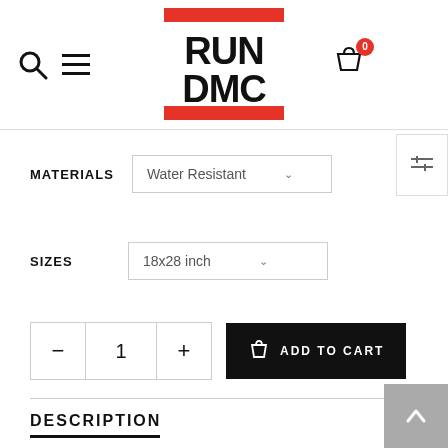[Figure (logo): RUN DMC logo — red rectangle background with bold black text RUN on top, DMC below, red lines above and below text]
MATERIALS   Water Resistant
SIZES   18x28 inch
1
ADD TO CART
DESCRIPTION